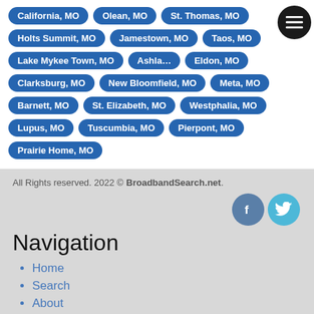California, MO
Olean, MO
St. Thomas, MO
Holts Summit, MO
Jamestown, MO
Taos, MO
Lake Mykee Town, MO
Ashland, MO
Eldon, MO
Clarksburg, MO
New Bloomfield, MO
Meta, MO
Barnett, MO
St. Elizabeth, MO
Westphalia, MO
Lupus, MO
Tuscumbia, MO
Pierpont, MO
Prairie Home, MO
All Rights reserved. 2022 © BroadbandSearch.net.
[Figure (illustration): Facebook and Twitter social media icons]
Navigation
Home
Search
About
Providers
Service Areas
Blog
Speed Test